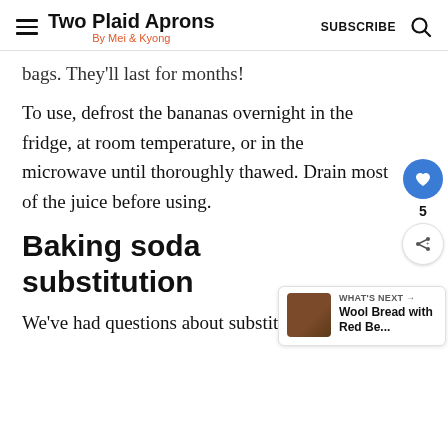Two Plaid Aprons — By Mei & Kyong — SUBSCRIBE
bags. They'll last for months!
To use, defrost the bananas overnight in the fridge, at room temperature, or in the microwave until thoroughly thawed. Drain most of the juice before using.
Baking soda substitution
We've had questions about substituting